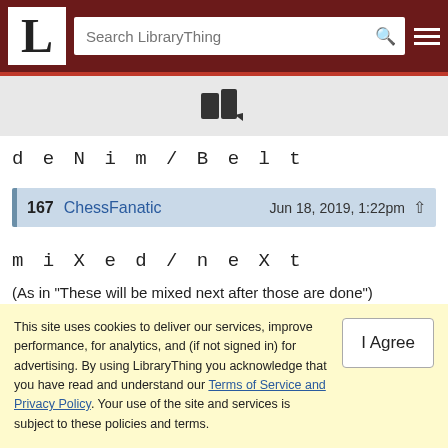LibraryThing — Search LibraryThing
[Figure (other): LibraryThing book/flag icon]
deNim/Belt
167  ChessFanatic   Jun 18, 2019, 1:22pm
miXed/neXt
(As in "These will be mixed next after those are done")
168  starbox   Jun 18, 2019, 1:27pm
This site uses cookies to deliver our services, improve performance, for analytics, and (if not signed in) for advertising. By using LibraryThing you acknowledge that you have read and understand our Terms of Service and Privacy Policy. Your use of the site and services is subject to these policies and terms.